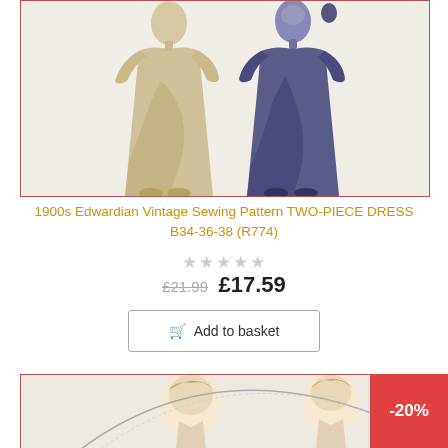[Figure (illustration): Two Edwardian-era dress illustrations: one in beige/cream long dress on left, one in navy/purple long dress on right, vintage sewing pattern style artwork]
1900s Edwardian Vintage Sewing Pattern TWO-PIECE DRESS B34-36-38 (R774)
★★★★★
£21.99  £17.59
Add to basket
[Figure (illustration): Partial view of another vintage sewing pattern illustration showing two women's heads/upper bodies in Edwardian style]
-20%
Privacy · Terms